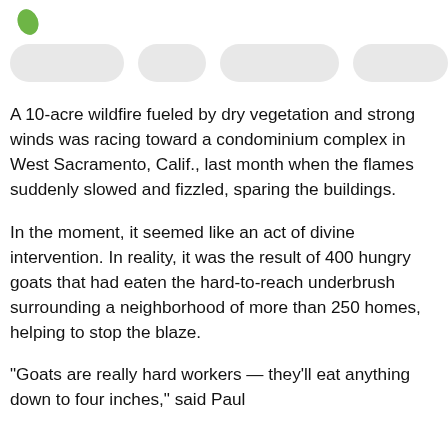[Figure (logo): Small green leaf/plant logo icon in top left corner]
[Figure (other): Navigation bar with four rounded pill-shaped gray buttons/tabs]
A 10-acre wildfire fueled by dry vegetation and strong winds was racing toward a condominium complex in West Sacramento, Calif., last month when the flames suddenly slowed and fizzled, sparing the buildings.
In the moment, it seemed like an act of divine intervention. In reality, it was the result of 400 hungry goats that had eaten the hard-to-reach underbrush surrounding a neighborhood of more than 250 homes, helping to stop the blaze.
“Goats are really hard workers — they’ll eat anything down to four inches,” said Paul